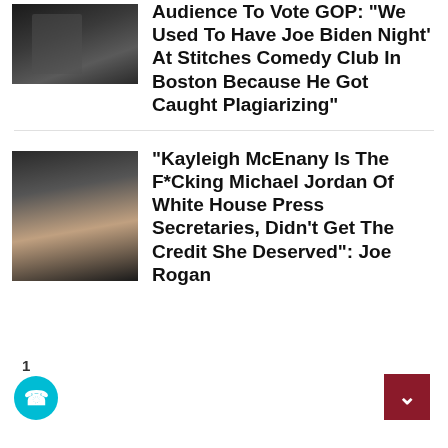[Figure (photo): Dark photo showing a person in a sports jersey]
Audience To Vote GOP: “We Used To Have Joe Biden Night’ At Stitches Comedy Club In Boston Because He Got Caught Plagiarizing”
[Figure (photo): Side-by-side photo of a blonde woman smiling and a bald Black man]
“Kayleigh McEnany Is The F*Cking Michael Jordan Of White House Press Secretaries, Didn’t Get The Credit She Deserved”: Joe Rogan